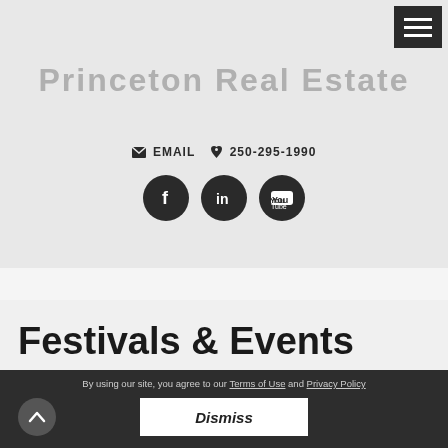[Figure (screenshot): Hamburger menu button (three horizontal lines) in top right corner, dark background]
Princeton Real Estate
EMAIL  250-295-1990
[Figure (infographic): Three dark circular social media icons: Facebook, LinkedIn, YouTube]
Festivals & Events
By using our site, you agree to our Terms of Use and Privacy Policy  Dismiss